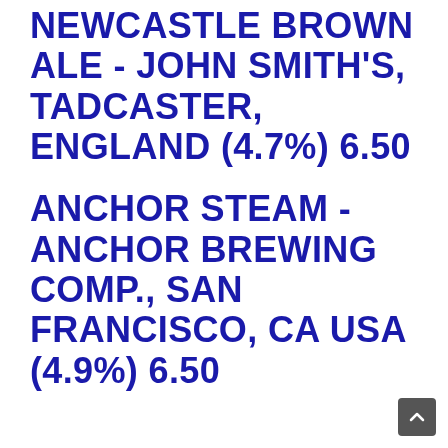NEWCASTLE BROWN ALE - JOHN SMITH'S, TADCASTER, ENGLAND (4.7%) 6.50
ANCHOR STEAM - ANCHOR BREWING COMP., SAN FRANCISCO, CA USA (4.9%) 6.50